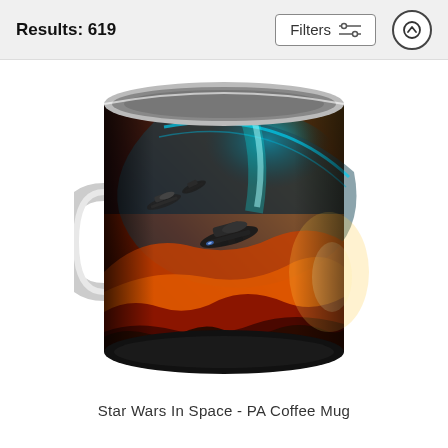Results: 619
Filters
[Figure (photo): A ceramic coffee mug with a Star Wars-themed space scene printed on it, showing spaceships flying over a fiery alien planet surface with a glowing planet and teal nebula in the background.]
Star Wars In Space - PA Coffee Mug